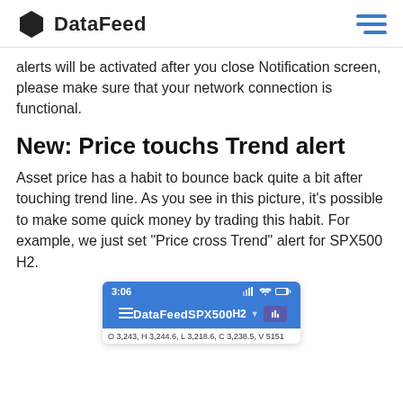DataFeed
alerts will be activated after you close Notification screen, please make sure that your network connection is functional.
New: Price touchs Trend alert
Asset price has a habit to bounce back quite a bit after touching trend line. As you see in this picture, it’s possible to make some quick money by trading this habit. For example, we just set “Price cross Trend” alert for SPX500 H2.
[Figure (screenshot): Mobile app screenshot showing DataFeed app with SPX500 H2 chart. Status bar shows 3:06. Navigation bar shows DataFeed, SPX500, H2 labels. Bottom shows: O 3,243, H 3,244.6, L 3,218.6, C 3,238.5, V 5151]